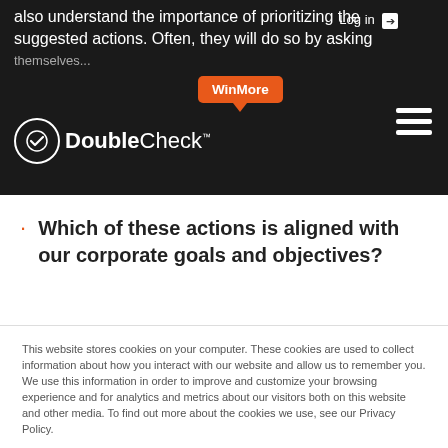also understand the importance of prioritizing the suggested actions. Often, they will do so by asking themselves...
Which of these actions is aligned with our corporate goals and objectives?
This website stores cookies on your computer. These cookies are used to collect information about how you interact with our website and allow us to remember you. We use this information in order to improve and customize your browsing experience and for analytics and metrics about our visitors both on this website and other media. To find out more about the cookies we use, see our Privacy Policy.

If you decline, your information won't be tracked when you visit this website. A single cookie will be used in your browser to remember your preference not to be tracked.